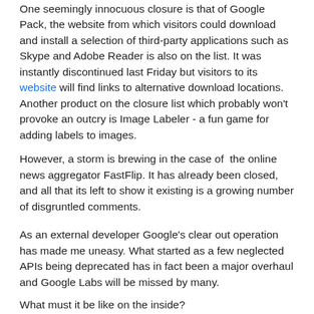One seemingly innocuous closure is that of Google Pack, the website from which visitors could download and install a selection of third-party applications such as Skype and Adobe Reader is also on the list. It was instantly discontinued last Friday but visitors to its website will find links to alternative download locations. Another product on the closure list which probably won't provoke an outcry is Image Labeler - a fun game for adding labels to images.
However, a storm is brewing in the case of the online news aggregator FastFlip. It has already been closed, and all that its left to show it existing is a growing number of disgruntled comments.
As an external developer Google's clear out operation has made me uneasy. What started as a few neglected APIs being deprecated has in fact been a major overhaul and Google Labs will be missed by many.
What must it be like on the inside?
Less than 6 months ago we ran a story about the "perk" of being able to run a startup within Google and referred to the Slide as an example of Google's policy of encouraging business units within the company to act as independent units. Slide is another of the casualties of the 2011 spring cleaning exercise with all but one of its projects (the survivor being a project in China) being abruptly closed last month with the departure of its leader, Max Levchin, who before